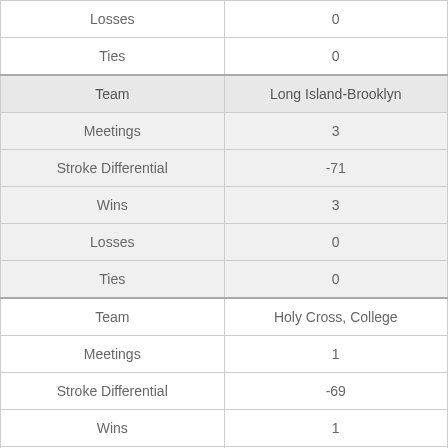| Field | Value |
| --- | --- |
| Losses | 0 |
| Ties | 0 |
| Team | Long Island-Brooklyn |
| Meetings | 3 |
| Stroke Differential | -71 |
| Wins | 3 |
| Losses | 0 |
| Ties | 0 |
| Team | Holy Cross, College |
| Meetings | 1 |
| Stroke Differential | -69 |
| Wins | 1 |
| Losses | 0 |
| Ties | 0 |